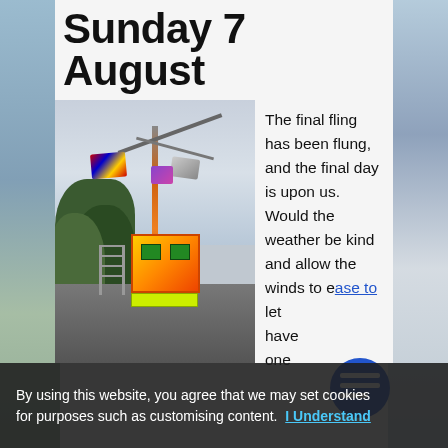Sunday 7 August
[Figure (photo): Colorful fairground ride (pirate ship or similar) with tall mast, colorful flags, and a yellow/orange/red gondola car, with trees and overcast sky in background]
The final fling has been flung, and the final day is upon us. Would the weather be kind and allow the winds to ease to let ... have ... one
By using this website, you agree that we may set cookies for purposes such as customising content.  I Understand